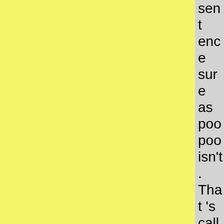sentence sure as poo poo isn't. That's called poetry brosef, and you suck at that